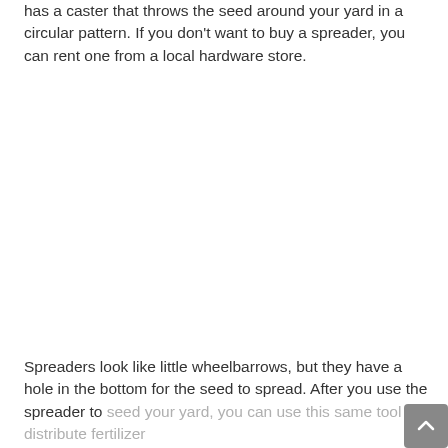has a caster that throws the seed around your yard in a circular pattern. If you don't want to buy a spreader, you can rent one from a local hardware store.
[Figure (photo): Image placeholder area (white/blank) showing where a photo of a spreader would appear]
Spreaders look like little wheelbarrows, but they have a hole in the bottom for the seed to spread. After you use the spreader to seed your yard, you can use this same tool to distribute fertilizer